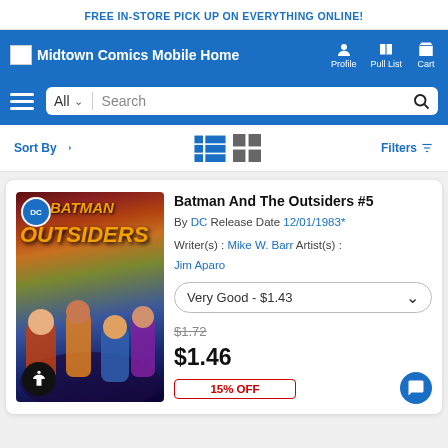FREE IN-STORE PICK UP ON EVERYTHING ONLINE!
Midtown Comics Mobile Home  Profile  Pull List  Cart
All  Search
Sort By  Filters
[Figure (photo): Batman And The Outsiders #5 comic book cover showing Batman and the Outsiders characters in action, with DC logo in top left corner, orange/yellow title text 'BATMAN OUTSIDERS' on colorful illustrated background]
Batman And The Outsiders #5
By DC Release Date 12/01/1983*
Writer(s): Mike W. Barr  Artist(s): Jim Aparo
Very Good - $1.43
$1.72
$1.46
15% OFF